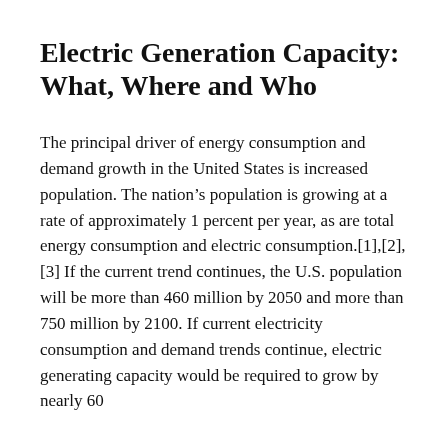Electric Generation Capacity: What, Where and Who
The principal driver of energy consumption and demand growth in the United States is increased population. The nation’s population is growing at a rate of approximately 1 percent per year, as are total energy consumption and electric consumption.[1],[2],[3] If the current trend continues, the U.S. population will be more than 460 million by 2050 and more than 750 million by 2100. If current electricity consumption and demand trends continue, electric generating capacity would be required to grow by nearly 60